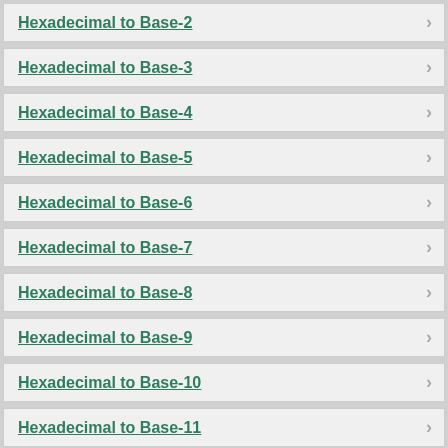Hexadecimal to Base-2
Hexadecimal to Base-3
Hexadecimal to Base-4
Hexadecimal to Base-5
Hexadecimal to Base-6
Hexadecimal to Base-7
Hexadecimal to Base-8
Hexadecimal to Base-9
Hexadecimal to Base-10
Hexadecimal to Base-11
Hexadecimal to Base-12
Hexadecimal to Base-13